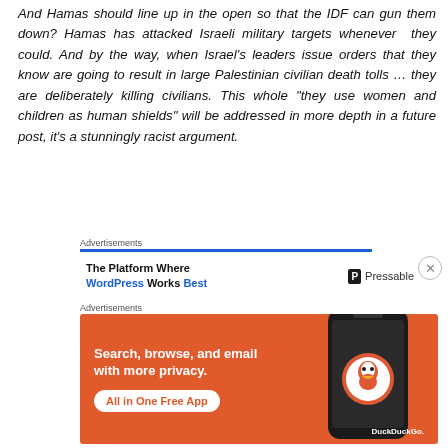And Hamas should line up in the open so that the IDF can gun them down? Hamas has attacked Israeli military targets whenever they could. And by the way, when Israel's leaders issue orders that they know are going to result in large Palestinian civilian death tolls … they are deliberately killing civilians. This whole “they use women and children as human shields” will be addressed in more depth in a future post, it’s a stunningly racist argument.
Advertisements
[Figure (screenshot): Pressable advertisement: The Platform Where WordPress Works Best]
Advertisements
[Figure (screenshot): DuckDuckGo advertisement: Search, browse, and email with more privacy. All in One Free App.]